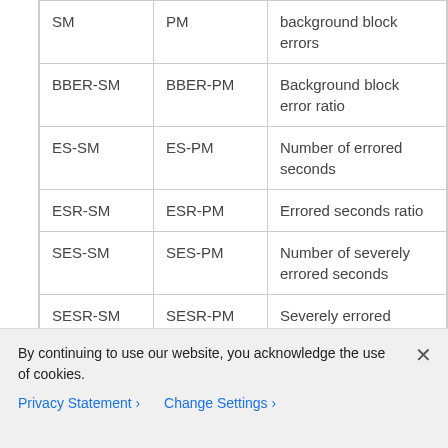| SM | PM | background block errors |
| BBER-SM | BBER-PM | Background block error ratio |
| ES-SM | ES-PM | Number of errored seconds |
| ESR-SM | ESR-PM | Errored seconds ratio |
| SES-SM | SES-PM | Number of severely errored seconds |
| SESR-SM | SESR-PM | Severely errored seconds ratio |
| UAS- | UAS- | Number of |
By continuing to use our website, you acknowledge the use of cookies.
Privacy Statement › Change Settings ›